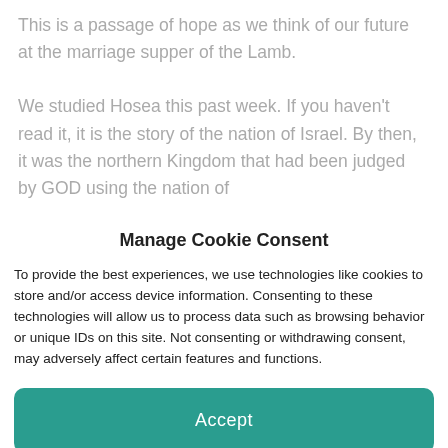This is a passage of hope as we think of our future at the marriage supper of the Lamb.

We studied Hosea this past week. If you haven't read it, it is the story of the nation of Israel. By then, it was the northern Kingdom that had been judged by GOD using the nation of
Manage Cookie Consent
To provide the best experiences, we use technologies like cookies to store and/or access device information. Consenting to these technologies will allow us to process data such as browsing behavior or unique IDs on this site. Not consenting or withdrawing consent, may adversely affect certain features and functions.
Accept